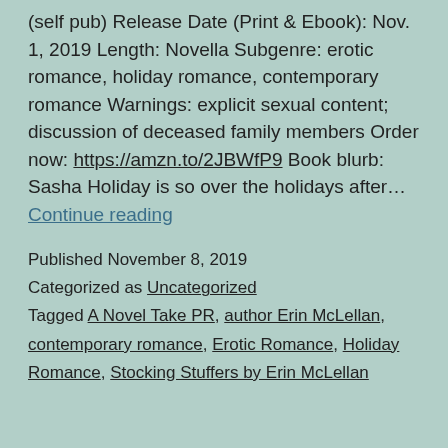(self pub) Release Date (Print & Ebook): Nov. 1, 2019 Length: Novella Subgenre: erotic romance, holiday romance, contemporary romance Warnings: explicit sexual content; discussion of deceased family members Order now: https://amzn.to/2JBWfP9 Book blurb: Sasha Holiday is so over the holidays after… Continue reading
Published November 8, 2019
Categorized as Uncategorized
Tagged A Novel Take PR, author Erin McLellan, contemporary romance, Erotic Romance, Holiday Romance, Stocking Stuffers by Erin McLellan